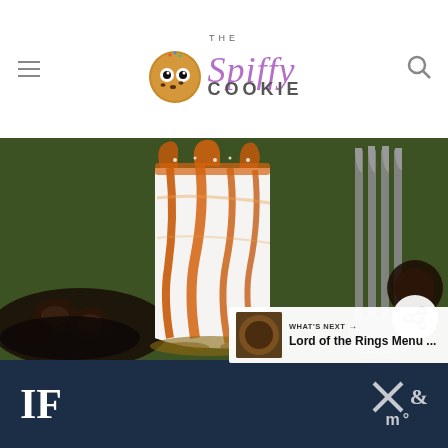The Spiffy Cookie
[Figure (photo): A slice of cheesecake or ice cream cake topped with caramel sauce drizzle, served on a green plate with chocolate pretzels and crumbled cookie base, with a fork visible on the right side]
WHAT'S NEXT → Lord of the Rings Menu ...
IF   RX & M